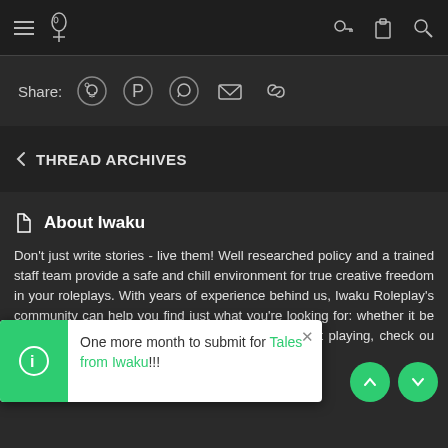Navigation bar with hamburger menu, logo, key icon, clipboard icon, search icon
Share:
[Figure (screenshot): Social share icons: Reddit, Pinterest, WhatsApp, Email, Link]
< THREAD ARCHIVES
About Iwaku
Don't just write stories - live them! Well researched policy and a trained staff team provide a safe and chill environment for true creative freedom in your roleplays. With years of experience behind us, Iwaku Roleplay's community can help you find just what you're looking for: whether it be casual ro[...] re not playing, check ou[...] ions.
One more month to submit for Tales from Iwaku!!!
Useful Links